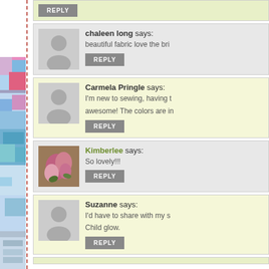[Figure (photo): Left sidebar with colorful fabric/flower photo strip and dashed red vertical line]
chaleen long says: beautiful fabric love the bri...
Carmela Pringle says: I'm new to sewing, having t... awesome! The colors are in...
Kimberlee says: So lovely!!!
Suzanne says: I'd have to share with my s... Child glow.